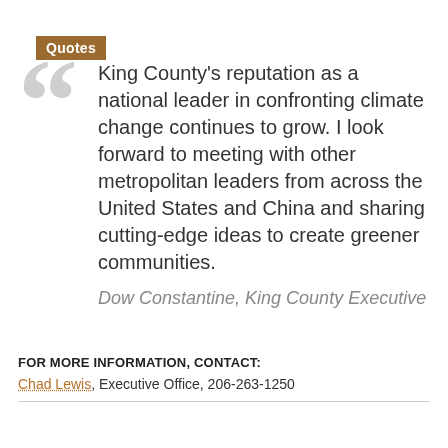Quotes
King County's reputation as a national leader in confronting climate change continues to grow. I look forward to meeting with other metropolitan leaders from across the United States and China and sharing cutting-edge ideas to create greener communities.
Dow Constantine, King County Executive
FOR MORE INFORMATION, CONTACT:
Chad Lewis, Executive Office, 206-263-1250